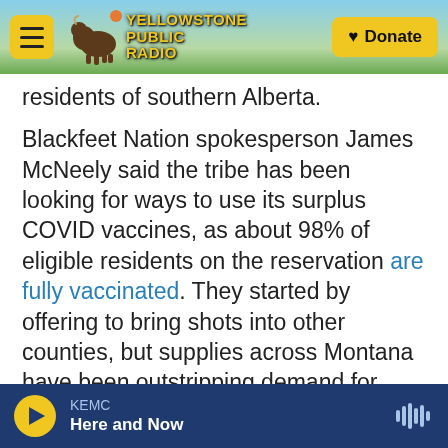Yellowstone Public Radio | Donate
residents of southern Alberta.
Blackfeet Nation spokesperson James McNeely said the tribe has been looking for ways to use its surplus COVID vaccines, as about 98% of eligible residents on the reservation are fully vaccinated. They started by offering to bring shots into other counties, but supplies across Montana have been outstripping demand for weeks now. Read more
Gianforte Receives Second COVID-19 Shot, Encourages Montanans To Vaccinate
Montana Gov. Greg Gianforte received his second
KEMC | Here and Now